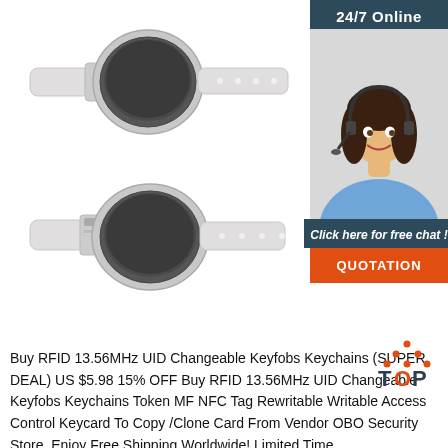[Figure (photo): Two RFID 13.56MHz UID Changeable wristband keyfobs shown from above and below, with transparent/white silicone straps and dark round disc RFID tags.]
[Figure (photo): Sidebar with 24/7 Online header, photo of customer service woman with headset, 'Click here for free chat!' text, and orange QUOTATION button.]
[Figure (logo): TOP logo with orange/red dotted triangle above letters T-O-P in dark and orange colors.]
Buy RFID 13.56MHz UID Changeable Keyfobs Keychains (SUPER DEAL) US $5.98 15% OFF Buy RFID 13.56MHz UID Changeable Keyfobs Keychains Token MF NFC Tag Rewritable Writable Access Control Keycard To Copy /Clone Card From Vendor OBO Security Store. Enjoy Free Shipping Worldwide! Limited Time